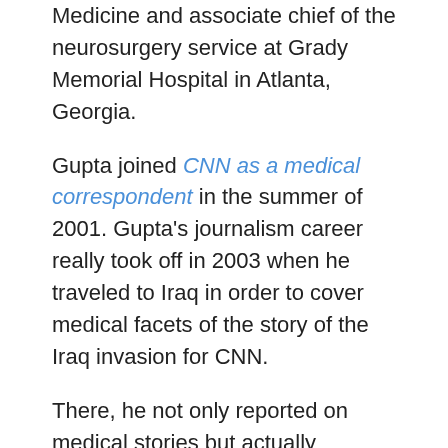Medicine and associate chief of the neurosurgery service at Grady Memorial Hospital in Atlanta, Georgia.
Gupta joined CNN as a medical correspondent in the summer of 2001. Gupta's journalism career really took off in 2003 when he traveled to Iraq in order to cover medical facets of the story of the Iraq invasion for CNN.
There, he not only reported on medical stories but actually performed emergency surgery on both U.S. soldiers and Iraqi civilians.
Gupta was embedded with a Navy medical unit at the time with a group of doctors called the “Devil Docs,” who supported the 1st Marine Expeditionary Force.